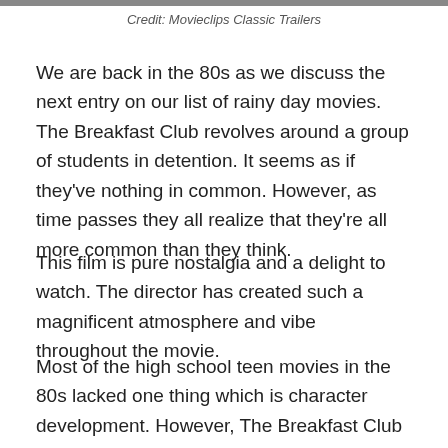[Figure (photo): A partial image visible as a strip at the top of the page]
Credit: Movieclips Classic Trailers
We are back in the 80s as we discuss the next entry on our list of rainy day movies. The Breakfast Club revolves around a group of students in detention. It seems as if they've nothing in common. However, as time passes they all realize that they're all more common than they think.
This film is pure nostalgia and a delight to watch. The director has created such a magnificent atmosphere and vibe throughout the movie.
Most of the high school teen movies in the 80s lacked one thing which is character development. However, The Breakfast Club shines in that area. Despite it having a huge cast, it manages to flesh out each character over the span of